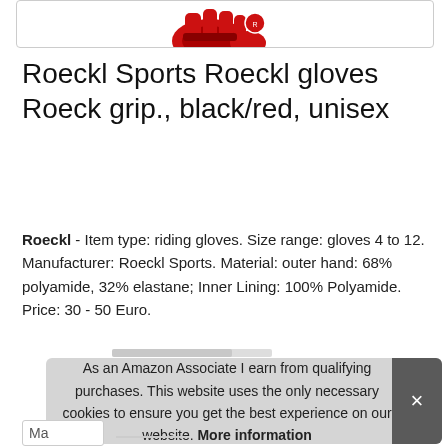[Figure (photo): Partial view of Roeckl black/red riding gloves product image at top of page, cropped]
Roeckl Sports Roeckl gloves Roeck grip., black/red, unisex
Roeckl - Item type: riding gloves. Size range: gloves 4 to 12. Manufacturer: Roeckl Sports. Material: outer hand: 68% polyamide, 32% elastane; Inner Lining: 100% Polyamide. Price: 30 - 50 Euro.
As an Amazon Associate I earn from qualifying purchases. This website uses the only necessary cookies to ensure you get the best experience on our website. More information